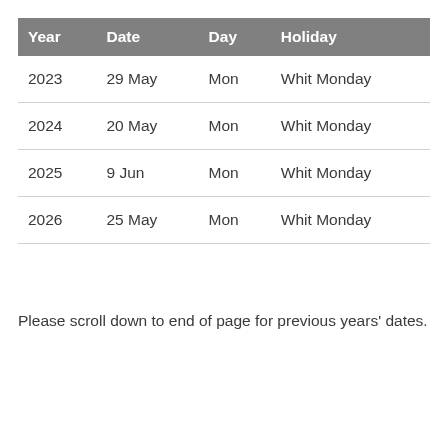| Year | Date | Day | Holiday |
| --- | --- | --- | --- |
| 2023 | 29 May | Mon | Whit Monday |
| 2024 | 20 May | Mon | Whit Monday |
| 2025 | 9 Jun | Mon | Whit Monday |
| 2026 | 25 May | Mon | Whit Monday |
Please scroll down to end of page for previous years' dates.